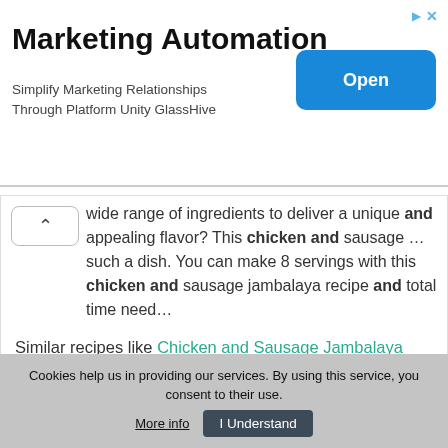[Figure (screenshot): Ad banner for Marketing Automation - GlassHive platform with Open button]
Marketing Automation
Simplify Marketing Relationships Through Platform Unity GlassHive
wide range of ingredients to deliver a unique and appealing flavor? This chicken and sausage … such a dish. You can make 8 servings with this chicken and sausage jambalaya recipe and total time need…
Similar recipes like Chicken and Sausage Jambalaya
♥ 9   👍 43   🕐 60 min
[Figure (photo): Food photo showing green vegetables (scallions/green onions) in a golden broth or stew, likely jambalaya]
Cookies help us in providing our services. By using this service, you consent to their use. More info   I Understand